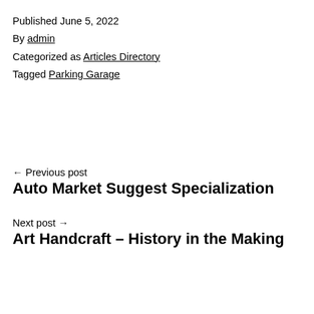Published June 5, 2022
By admin
Categorized as Articles Directory
Tagged Parking Garage
← Previous post
Auto Market Suggest Specialization
Next post →
Art Handcraft – History in the Making